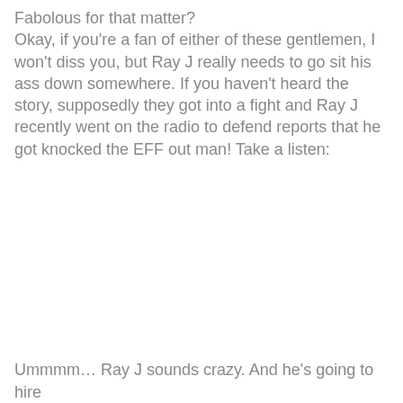Fabolous for that matter? Okay, if you're a fan of either of these gentlemen, I won't diss you, but Ray J really needs to go sit his ass down somewhere. If you haven't heard the story, supposedly they got into a fight and Ray J recently went on the radio to defend reports that he got knocked the EFF out man! Take a listen:
Ummmm… Ray J sounds crazy. And he's going to hire